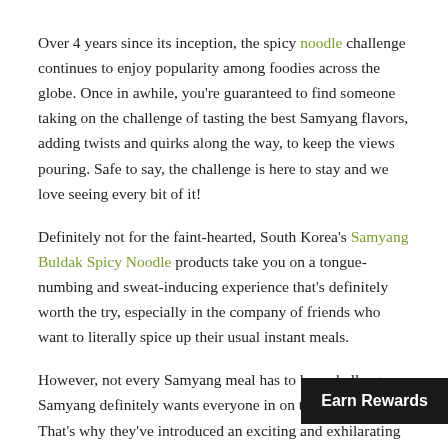Over 4 years since its inception, the spicy noodle challenge continues to enjoy popularity among foodies across the globe. Once in awhile, you're guaranteed to find someone taking on the challenge of tasting the best Samyang flavors, adding twists and quirks along the way, to keep the views pouring. Safe to say, the challenge is here to stay and we love seeing every bit of it!
Definitely not for the faint-hearted, South Korea's Samyang Buldak Spicy Noodle products take you on a tongue-numbing and sweat-inducing experience that's definitely worth the try, especially in the company of friends who want to literally spice up their usual instant meals.
However, not every Samyang meal has to be a challenge. Samyang definitely wants everyone in on the ramen fun. That's why they've introduced an exciting and exhilarating line of instant noodles that are fused with unique s
Earn Rewards